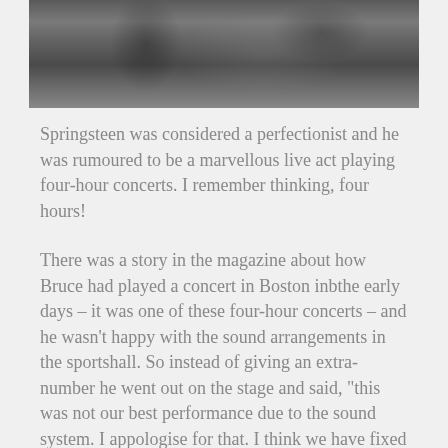[Figure (photo): Black and white photograph, partially visible at the top of the page, showing a figure or figures in a dark, grainy scene.]
Springsteen was considered a perfectionist and he was rumoured to be a marvellous live act playing four-hour concerts. I remember thinking, four hours!
There was a story in the magazine about how Bruce had played a concert in Boston inbthe early days – it was one of these four-hour concerts – and he wasn't happy with the sound arrangements in the sportshall. So instead of giving an extra-number he went out on the stage and said, "this was not our best performance due to the sound system. I appologise for that. I think we have fixed the sound now – so for those of you who want to stay, we will do the entire show one more time". All of it. Four more hours.